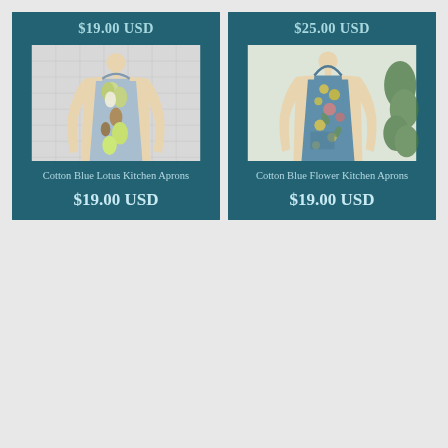$19.00 USD
[Figure (photo): Wooden mannequin wearing a light blue cotton apron with yellow and white lotus flower print, displayed against a white tile wall background.]
Cotton Blue Lotus Kitchen Aprons
$19.00 USD
$25.00 USD
[Figure (photo): Wooden mannequin wearing a blue cotton apron with colorful flower print including yellow and pink blooms, displayed against a light background with green plant visible on right side.]
Cotton Blue Flower Kitchen Aprons
$19.00 USD